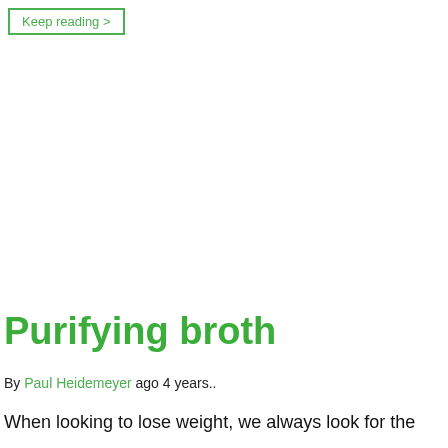Keep reading >
Purifying broth
By Paul Heidemeyer ago 4 years..
When looking to lose weight, we always look for the